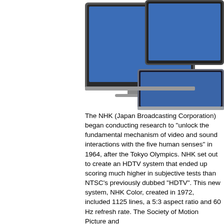[Figure (photo): Two flat-screen monitors/TVs with blue screens shown overlapping, one larger monitor behind and one smaller monitor (Acer branded) in front, with a third partially visible at the bottom right. Dark bezels, silver/gray stands.]
The NHK (Japan Broadcasting Corporation) began conducting research to "unlock the fundamental mechanism of video and sound interactions with the five human senses" in 1964, after the Tokyo Olympics. NHK set out to create an HDTV system that ended up scoring much higher in subjective tests than NTSC's previously dubbed "HDTV". This new system, NHK Color, created in 1972, included 1125 lines, a 5:3 aspect ratio and 60 Hz refresh rate. The Society of Motion Picture and